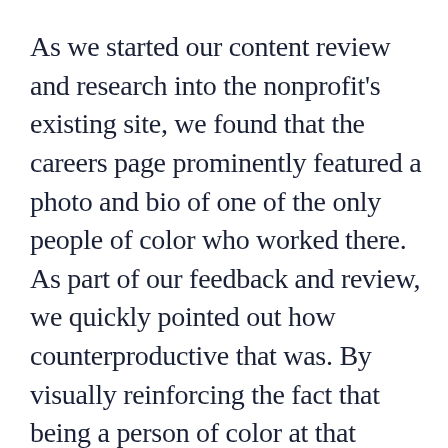As we started our content review and research into the nonprofit's existing site, we found that the careers page prominently featured a photo and bio of one of the only people of color who worked there. As part of our feedback and review, we quickly pointed out how counterproductive that was. By visually reinforcing the fact that being a person of color at that company would mark you as being other or a special feature, rather than as a colleague in a workplace,